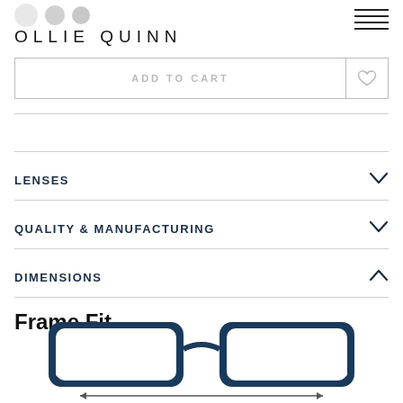[Figure (screenshot): Ollie Quinn eyewear product page screenshot showing logo, add to cart button, accordion sections for Lenses, Quality & Manufacturing, Dimensions, and Frame Fit section with glasses diagram]
OLLIE QUINN
ADD TO CART
LENSES
QUALITY & MANUFACTURING
DIMENSIONS
Frame Fit